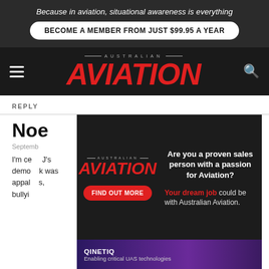Because in aviation, situational awareness is everything
BECOME A MEMBER FROM JUST $99.95 A YEAR
[Figure (logo): Australian Aviation masthead logo with red italic bold AVIATION text on dark background with hamburger menu and search icon]
REPLY
Noe...
September...
I'm ce... J's demo... k was appal... s, bullyi...
[Figure (infographic): Popup advertisement overlay for Australian Aviation jobs: 'Are you a proven sales person with a passion for Aviation? Your dream job could be with Australian Aviation. FIND OUT MORE']
[Figure (infographic): QinetiQ advertisement banner: Enabling critical UAS technologies]